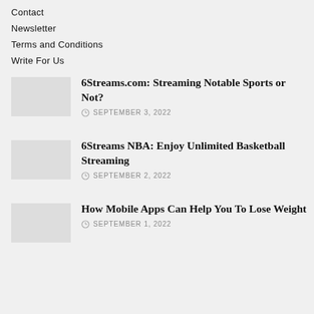Contact
Newsletter
Terms and Conditions
Write For Us
6Streams.com: Streaming Notable Sports or Not?
SEPTEMBER 3, 2022
6Streams NBA: Enjoy Unlimited Basketball Streaming
SEPTEMBER 2, 2022
How Mobile Apps Can Help You To Lose Weight
SEPTEMBER 1, 2022